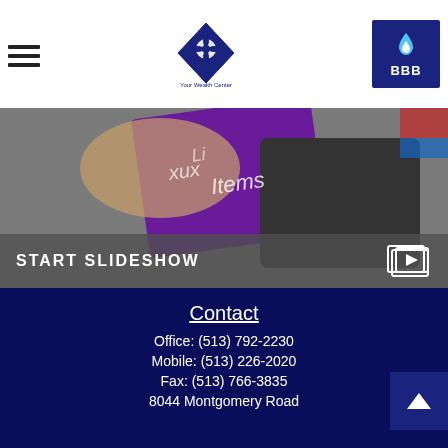[Figure (logo): Your Wealth Center logo - diamond shape with thistle emblem and text beneath]
[Figure (logo): BBB Better Business Bureau badge - blue square with flame icon and BBB text]
[Figure (photo): Slideshow banner image showing luxury items including a purple notebook, tablet, and accessories with overlay text START SLIDESHOW and a slideshow icon]
Managing Your Lifestyle
Using smart management to get more of what you want and free up assets to invest.
Contact
Office: (513) 792-2230
Mobile: (513) 226-2020
Fax: (513) 766-3835
8044 Montgomery Road